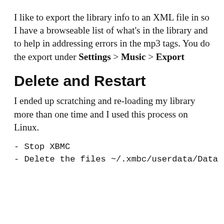I like to export the library info to an XML file in so I have a browseable list of what's in the library and to help in addressing errors in the mp3 tags. You do the export under Settings > Music > Export
Delete and Restart
I ended up scratching and re-loading my library more than one time and I used this process on Linux.
- Stop XBMC
- Delete the files ~/.xmbc/userdata/Data